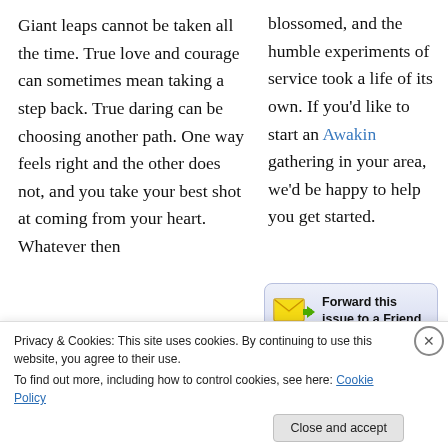Giant leaps cannot be taken all the time. True love and courage can sometimes mean taking a step back. True daring can be choosing another path. One way feels right and the other does not, and you take your best shot at coming from your heart. Whatever then
blossomed, and the humble experiments of service took a life of its own. If you'd like to start an Awakin gathering in your area, we'd be happy to help you get started.
[Figure (other): Forward this issue to a Friend button with envelope and arrow icon]
Privacy & Cookies: This site uses cookies. By continuing to use this website, you agree to their use.
To find out more, including how to control cookies, see here: Cookie Policy
Close and accept